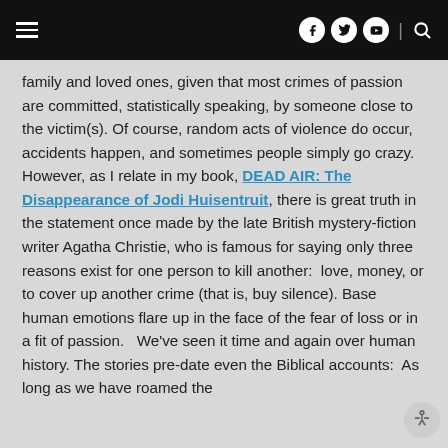Navigation header with hamburger menu, social icons (Facebook, Twitter, YouTube), divider, and search icon
family and loved ones, given that most crimes of passion are committed, statistically speaking, by someone close to the victim(s). Of course, random acts of violence do occur, accidents happen, and sometimes people simply go crazy.  However, as I relate in my book, DEAD AIR: The Disappearance of Jodi Huisentruit, there is great truth in the statement once made by the late British mystery-fiction writer Agatha Christie, who is famous for saying only three reasons exist for one person to kill another:  love, money, or to cover up another crime (that is, buy silence). Base human emotions flare up in the face of the fear of loss or in a fit of passion.   We've seen it time and again over human history. The stories pre-date even the Biblical accounts:  As long as we have roamed the